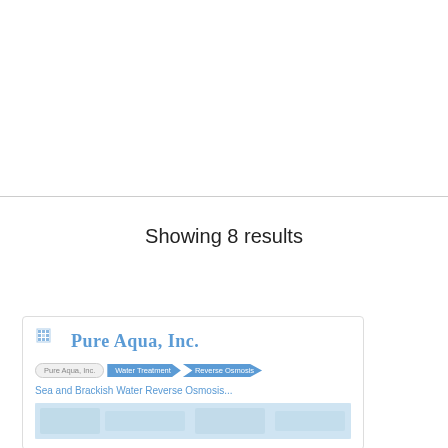Showing 8 results
[Figure (screenshot): A search result card showing the Pure Aqua, Inc. website with breadcrumb navigation: Pure Aqua, Inc. > Water Treatment > Reverse Osmosis, and the title 'Sea and Brackish Water Reverse Osmosis...' with a faded image below.]